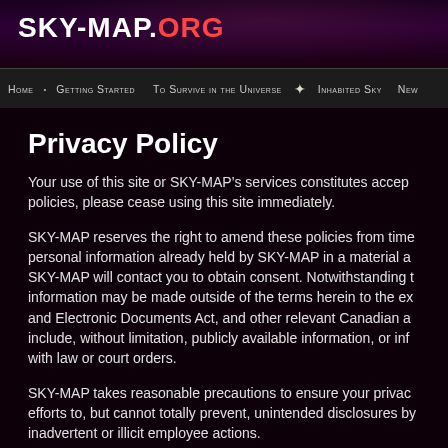SKY-MAP.ORG
Home · Getting Started · To Survive in the Universe · Inhabited Sky · New...
Privacy Policy
Your use of this site or SKY-MAP's services constitutes accep policies, please cease using this site immediately.
SKY-MAP reserves the right to amend these policies from time personal information already held by SKY-MAP in a material a SKY-MAP will contact you to obtain consent. Notwithstanding information may be made outside of the terms herein to the ex and Electronic Documents Act, and other relevant Canadian a include, without limitation, publicly available information, or inf with law or court orders.
SKY-MAP takes reasonable precautions to ensure your privac efforts to, but cannot totally prevent, unintended disclosures by inadvertent or illicit employee actions.
Our Web site keeps track of usage data, such as the source a